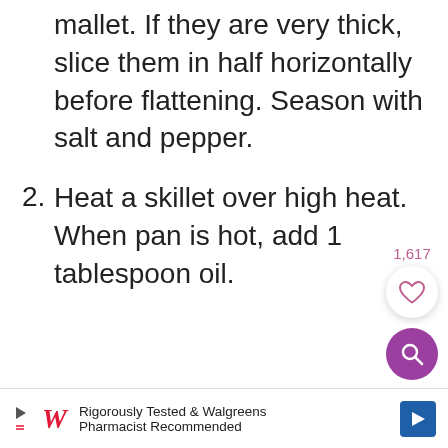mallet. If they are very thick, slice them in half horizontally before flattening. Season with salt and pepper.
2. Heat a skillet over high heat. When pan is hot, add 1 tablespoon oil.
[Figure (other): Like/heart button with count 1,617 and a purple search/magnify button below it]
[Figure (other): Advertisement banner: Walgreens logo with play icon, text 'Rigorously Tested & Walgreens Pharmacist Recommended', blue arrow icon]